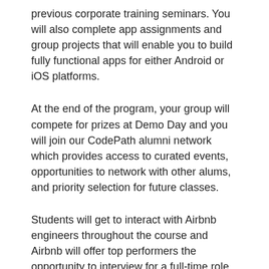previous corporate training seminars. You will also complete app assignments and group projects that will enable you to build fully functional apps for either Android or iOS platforms.
At the end of the program, your group will compete for prizes at Demo Day and you will join our CodePath alumni network which provides access to curated events, opportunities to network with other alums, and priority selection for future classes.
Students will get to interact with Airbnb engineers throughout the course and Airbnb will offer top performers the opportunity to interview for a full-time role within Airbnb.